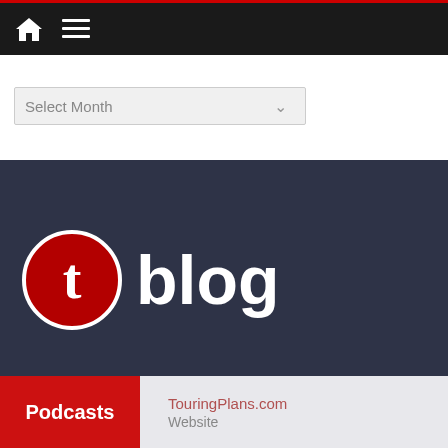Navigation bar with home and menu icons
Select Month
[Figure (logo): TouringPlans t blog logo: red circle with white letter t, followed by bold white text 'blog' on dark background]
Disney World and Disneyland News, Tips, Crowds and Attraction information from The Unofficial Guide to Walt Disney World and Disneyland
Podcasts
TouringPlans.com
Website